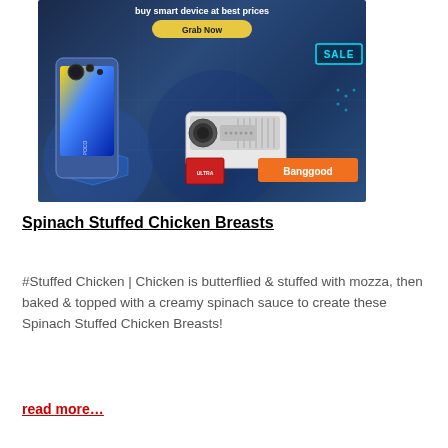[Figure (illustration): Banggood advertisement banner showing a smartphone, projector, SD card, and 'SALE' badge with 'buy smart device at best prices', 'Grab Now' button, and Banggood logo on orange background]
Spinach Stuffed Chicken Breasts
#Stuffed Chicken | Chicken is butterflied & stuffed with mozza, then baked & topped with a creamy spinach sauce to create these Spinach Stuffed Chicken Breasts!
read more…